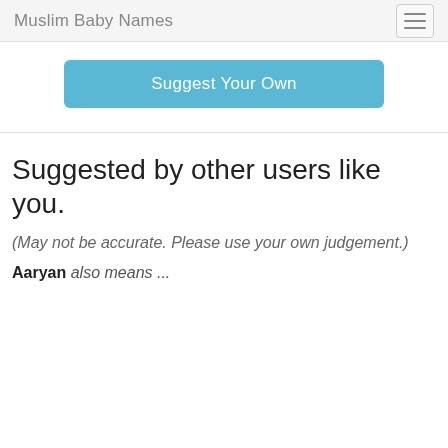Muslim Baby Names
Suggest Your Own
Suggested by other users like you.
(May not be accurate. Please use your own judgement.)
Aaryan also means ...